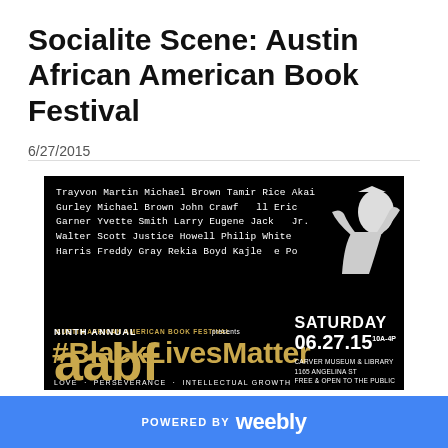Socialite Scene: Austin African American Book Festival
6/27/2015
[Figure (photo): Austin African American Book Festival promotional poster with #BlackLivesMatter theme on black background with gold text. Lists names of Black individuals who died, features a hand figure illustration, AABF logo, and event details: Saturday 06.27.15 10A-4P, Carver Museum & Library, 1165 Angelina St, Free & Open to the Public. Ninth Annual AABF.]
POWERED BY weebly